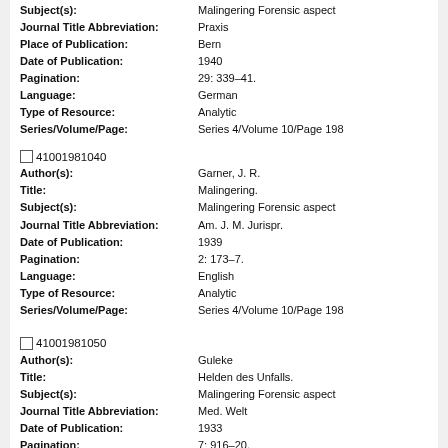Subject(s): Malingering Forensic aspect
Journal Title Abbreviation: Praxis
Place of Publication: Bern
Date of Publication: 1940
Pagination: 29: 339-41.
Language: German
Type of Resource: Analytic
Series/Volume/Page: Series 4/Volume 10/Page 198
41001981040
Author(s): Garner, J. R.
Title: Malingering.
Subject(s): Malingering Forensic aspect
Journal Title Abbreviation: Am. J. M. Jurispr.
Date of Publication: 1939
Pagination: 2: 173-7.
Language: English
Type of Resource: Analytic
Series/Volume/Page: Series 4/Volume 10/Page 198
41001981050
Author(s): Guleke
Title: Helden des Unfalls.
Subject(s): Malingering Forensic aspect
Journal Title Abbreviation: Med. Welt
Date of Publication: 1933
Pagination: 7: 916-20.
Language: German
Type of Resource: Analytic
Series/Volume/Page: Series 4/Volume 10/Page 198